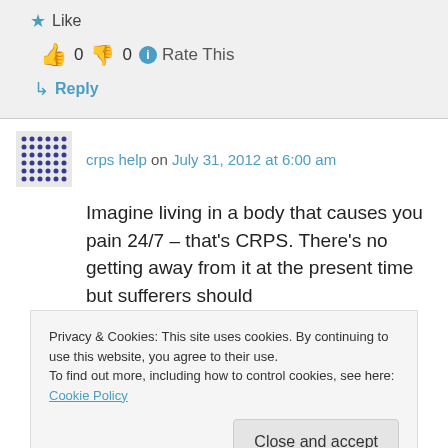★ Like
👍 0 👎 0 ℹ Rate This
↳ Reply
crps help on July 31, 2012 at 6:00 am
Imagine living in a body that causes you pain 24/7 – that's CRPS. There's no getting away from it at the present time but sufferers should
Privacy & Cookies: This site uses cookies. By continuing to use this website, you agree to their use. To find out more, including how to control cookies, see here: Cookie Policy
Close and accept